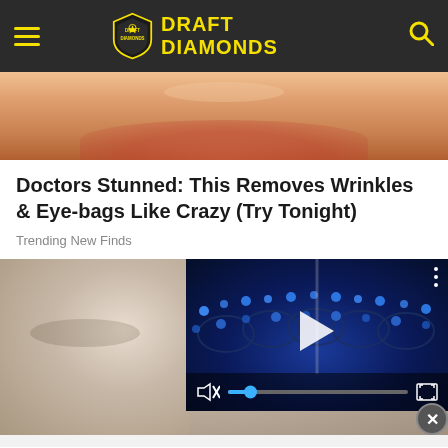DRAFT DIAMONDS
[Figure (photo): Close-up photo of a smiling woman with blonde hair, cropped to show lower face]
Doctors Stunned: This Removes Wrinkles & Eye-bags Like Crazy (Try Tonight)
Trending New Finds
[Figure (photo): Photo of an elderly person with face cream/eye treatment, overlaid with a video player showing a sports stadium with blue lights, play button, mute icon, progress bar, and fullscreen button]